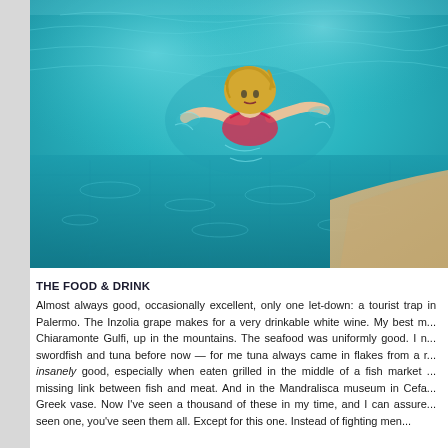[Figure (photo): A blonde woman swimming in a bright turquoise pool, photographed from above. The water is clear and shimmering with sunlight reflections. Sandy pool edge visible at lower right.]
THE FOOD & DRINK
Almost always good, occasionally excellent, only one let-down: a tourist trap in Palermo. The Inzolia grape makes for a very drinkable white wine. My best meal was in Chiaramonte Gulfi, up in the mountains. The seafood was uniformly good. I never had swordfish and tuna before now — for me tuna always came in flakes from a re... insanely good, especially when eaten grilled in the middle of a fish market ... missing link between fish and meat. And in the Mandralisca museum in Cefa... Greek vase. Now I've seen a thousand of these in my time, and I can assure... seen one, you've seen them all. Except for this one. Instead of fighting men...